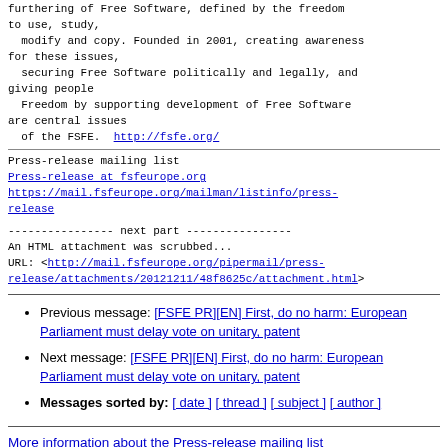furthering of Free Software, defined by the freedom to use, study,
  modify and copy. Founded in 2001, creating awareness for these issues,
  securing Free Software politically and legally, and giving people
  Freedom by supporting development of Free Software are central issues
  of the FSFE.  http://fsfe.org/
Press-release mailing list
Press-release at fsfeurope.org
https://mail.fsfeurope.org/mailman/listinfo/press-release
---------------- next part ---------------
An HTML attachment was scrubbed...
URL: <http://mail.fsfeurope.org/pipermail/press-release/attachments/20121211/48f8625c/attachment.html>
Previous message: [FSFE PR][EN] First, do no harm: European Parliament must delay vote on unitary, patent
Next message: [FSFE PR][EN] First, do no harm: European Parliament must delay vote on unitary, patent
Messages sorted by: [ date ] [ thread ] [ subject ] [ author ]
More information about the Press-release mailing list